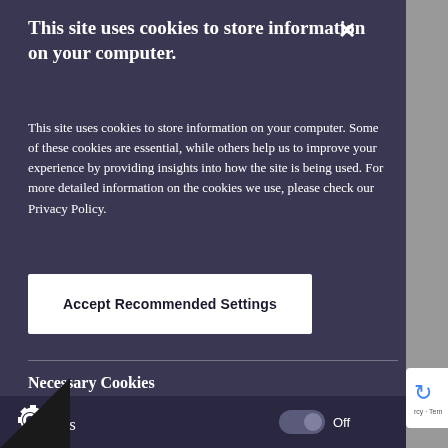This site uses cookies to store information on your computer.
This site uses cookies to store information on your computer. Some of these cookies are essential, while others help us to improve your experience by providing insights into how the site is being used. For more detailed information on the cookies we use, please check our Privacy Policy.
Accept Recommended Settings
Necessary Cookies
Necessary cookies enable core functionality such as page navigation and access to secure areas. The website cannot function properly without these cookies, and can only be disabled by changing your browser preferences.
ics
Off